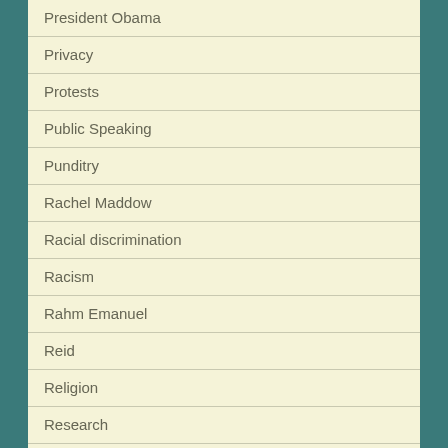President Obama
Privacy
Protests
Public Speaking
Punditry
Rachel Maddow
Racial discrimination
Racism
Rahm Emanuel
Reid
Religion
Research
Responsibility
Rick Pearlstein
Right wing echo chamber